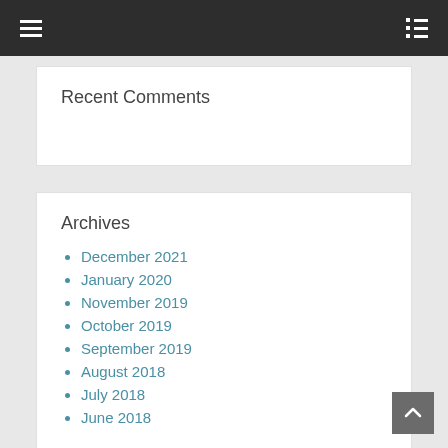Navigation bar with hamburger menu and list icon
Recent Comments
Archives
December 2021
January 2020
November 2019
October 2019
September 2019
August 2018
July 2018
June 2018